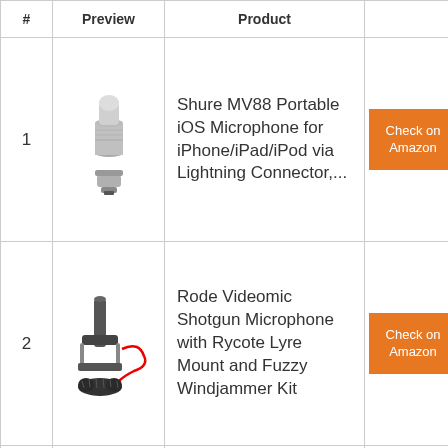| # | Preview | Product |  |
| --- | --- | --- | --- |
| 1 | [Shure MV88 microphone image] | Shure MV88 Portable iOS Microphone for iPhone/iPad/iPod via Lightning Connector,... | Check on Amazon |
| 2 | [Rode Videomic shotgun microphone image] | Rode Videomic Shotgun Microphone with Rycote Lyre Mount and Fuzzy Windjammer Kit | Check on Amazon |
|  |  |  |  |